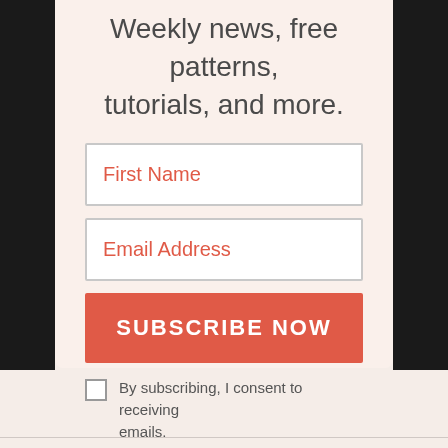Weekly news, free patterns, tutorials, and more.
First Name
Email Address
SUBSCRIBE NOW
By subscribing, I consent to receiving emails.